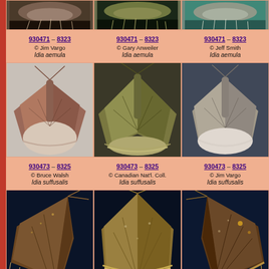[Figure (photo): Three partial moth photos (top-cropped) for Idia aemula]
930471 – 8323 © Jim Vargo Idia aemula
930471 – 8323 © Gary Anweiler Idia aemula
930471 – 8323 © Jeff Smith Idia aemula
[Figure (photo): Three moth photos for Idia suffusalis: brown moth, olive-green moth, grey moth]
930473 – 8325 © Bruce Walsh Idia suffusalis
930473 – 8325 © Canadian Nat'l. Coll. Idia suffusalis
930473 – 8325 © Jim Vargo Idia suffusalis
[Figure (photo): Three moth close-up photos on dark blue background (partial, row cropped at bottom)]